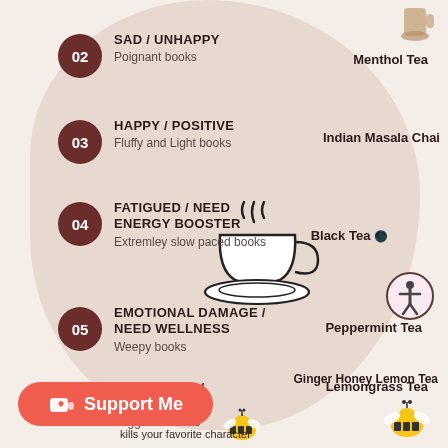02 SAD / UNHAPPY
Poignant books — Menthol Tea
03 HAPPY / POSITIVE
Fluffy and Light books — Indian Masala Chai
04 FATIGUED / NEED ENERGY BOOSTER
Extremley slow paced books — Black Tea
[Figure (illustration): Tea cup with steam rising, black line art illustration]
05 EMOTIONAL DAMAGE / NEED WELLNESS
Weepy books — Peppermint Tea
06 FEELING ILL / NAUSEATED
Triggered books — Ginger Honey Lemon Tea
[Figure (illustration): Two golden bee illustrations]
Lemongrass Tea
kills your favorite character
[Figure (illustration): Support Me button with Ko-fi cup and heart icon]